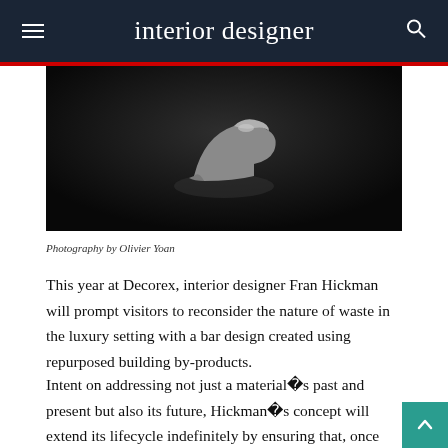interior designer
[Figure (photo): Close-up photograph of a shoe or object against a dark textured background]
Photography by Olivier Yoan
This year at Decorex, interior designer Fran Hickman will prompt visitors to reconsider the nature of waste in the luxury setting with a bar design created using repurposed building by-products.
Intent on addressing not just a material�s past and present but also its future, Hickman�s concept will extend its lifecycle indefinitely by ensuring that, once used, the bar is able to be reimagined once again.